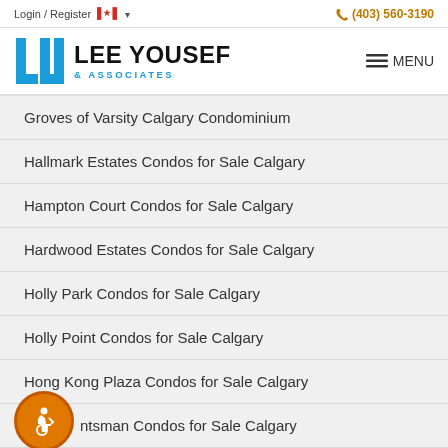Login / Register  (403) 560-3190
[Figure (logo): Lee Yousef & Associates real estate logo with blue bracket icon and company name]
Groves of Varsity Calgary Condominium
Hallmark Estates Condos for Sale Calgary
Hampton Court Condos for Sale Calgary
Hardwood Estates Condos for Sale Calgary
Holly Park Condos for Sale Calgary
Holly Point Condos for Sale Calgary
Hong Kong Plaza Condos for Sale Calgary
Huntsman Condos for Sale Calgary
i.D. Inglewood Condos for Sale Calgary